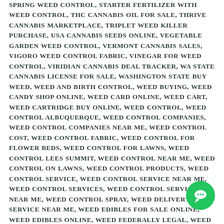WEED AND BIRTH CONTROL, WEED BUYING, WEED CANDY SHOP ONLINE, WEED CARD ONLINE, WEED CART, WEED CARTRIDGE BUY ONLINE, WEED CONTROL, WEED CONTROL ALBUQUERQUE, WEED CONTROL COMPANIES, WEED CONTROL COMPANIES NEAR ME, WEED CONTROL COST, WEED CONTROL FABRIC, WEED CONTROL FOR FLOWER BEDS, WEED CONTROL FOR LAWNS, WEED CONTROL LEES SUMMIT, WEED CONTROL NEAR ME, WEED CONTROL ON LAWNS, WEED CONTROL PRODUCTS, WEED CONTROL SERVICE, WEED CONTROL SERVICE NEAR ME, WEED CONTROL SERVICES, WEED CONTROL SERVICES NEAR ME, WEED CONTROL SPRAY, WEED DELIVERY SERVICE NEAR ME, WEED EDIBLES FOR SALE ONLINE, WEED EDIBLES ONLINE, WEED FEDERALLY LEGAL, WEED FIRM 2 FREE IN APP PURCHASES, WEED FIRM BUY A SAFE FROM LEE, WEED FIRM BUY SAFE FROM LEE, WEED FIRM BUYING A SAFE, WEED FIRM HOW TO BUY A SAFE, WEED FOR SALE ONLINE, WEED IN MINNESOTA 2021, WEED ONLINE, WEED ONLINE EUROPE, WEED ONLINE STORE, WEED ORDER, WEED PIPE, WEED PURCHASE AMOUNTS, WEED PURCHASE SIZES, WEED SEED ONLINE, WEED SEEDS ONLINE, WEED SHOP ONLINE, WEED SHOPS NEAR ME, WEED SHOPS ONLINE, WEED
[Figure (other): Green circular chat bubble icon in bottom right corner]